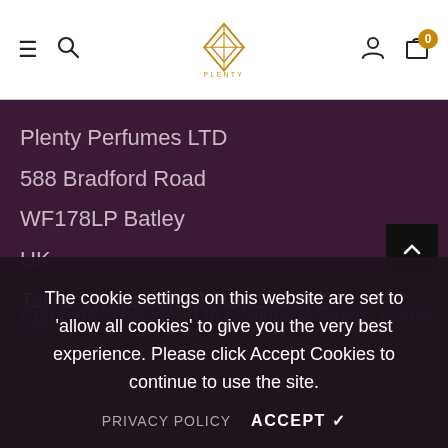Plenty Perfumes — navigation header with hamburger menu, search, logo, user icon, and cart (0)
Plenty Perfumes LTD
588 Bradford Road
WF178LP Batley
UK
Tel. & Whatsapp: 07453296272
Company Registered In England & Wales, Registered
SHOP
INFORMATION
The cookie settings on this website are set to 'allow all cookies' to give you the very best experience. Please click Accept Cookies to continue to use the site.
PRIVACY POLICY   ACCEPT ✓